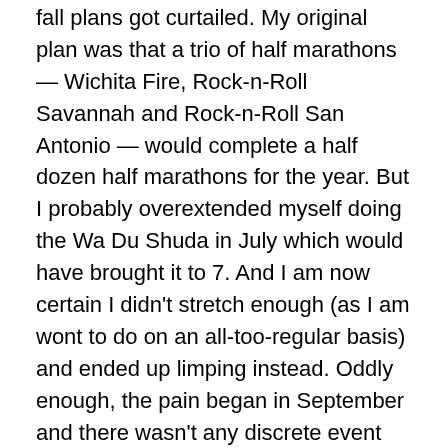fall plans got curtailed.  My original plan was that a trio of half marathons  —  Wichita Fire, Rock-n-Roll Savannah and Rock-n-Roll San Antonio  — would complete a half dozen half marathons for the year.  But I probably overextended myself doing the Wa Du Shuda in July which would have brought it to 7.  And I am now certain I didn't stretch enough (as I am wont to do on an all-too-regular basis) and ended up limping instead.  Oddly enough, the pain began in September and there wasn't any discrete event that started it.  I just noticed a soreness that worsened over time and took months to rehab again.  Feh!  And I now repeat my favorite lament:   It sucks to get old.  But it sure beats the alternative.  And since it's way too late to have died young, I'll continue to learn my lessons and keep going.
So here's how my fall running season went: I dumbed